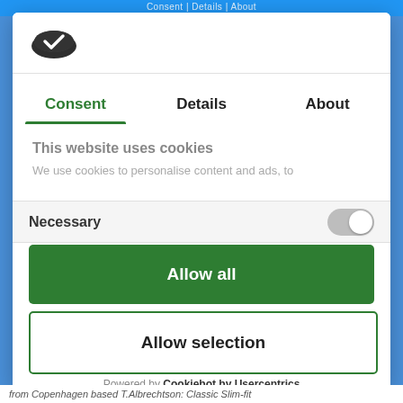[Figure (logo): Cookiebot logo — dark oval shape with white checkmark-like symbol]
Consent | Details | About
This website uses cookies
We use cookies to personalise content and ads, to
Necessary
Allow all
Allow selection
Powered by Cookiebot by Usercentrics
from Copenhagen based T.Albrechtson: Classic Slim-fit